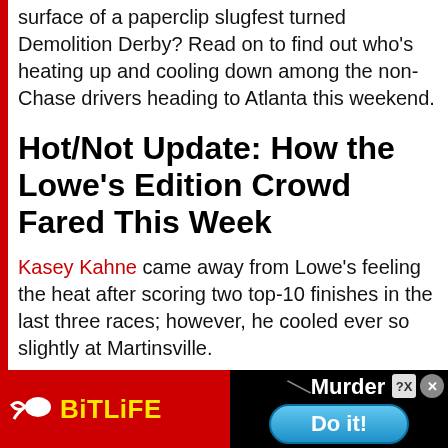surface of a paperclip slugfest turned Demolition Derby? Read on to find out who's heating up and cooling down among the non-Chase drivers heading to Atlanta this weekend.
Hot/Not Update: How the Lowe's Edition Crowd Fared This Week
Kasey Kahne came away from Lowe's feeling the heat after scoring two top-10 finishes in the last three races; however, he cooled ever so slightly at Martinsville.
[Figure (infographic): Advertisement banner for BitLife game showing red background with BitLife logo on left and a dark panel on right with 'Murder' text and 'Do it!' button]